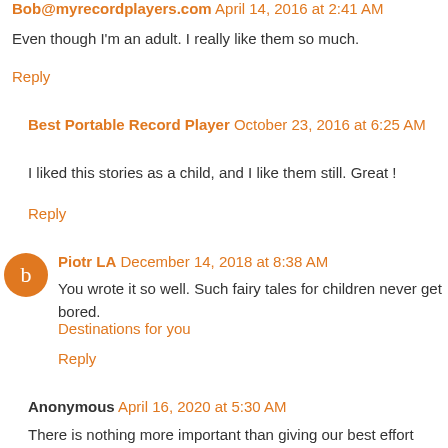Bob@myrecordplayers.com April 14, 2016 at 2:41 AM
Even though I'm an adult. I really like them so much.
Reply
Best Portable Record Player October 23, 2016 at 6:25 AM
I liked this stories as a child, and I like them still. Great !
Reply
Piotr LA December 14, 2018 at 8:38 AM
You wrote it so well. Such fairy tales for children never get bored.
Destinations for you
Reply
Anonymous April 16, 2020 at 5:30 AM
There is nothing more important than giving our best effort